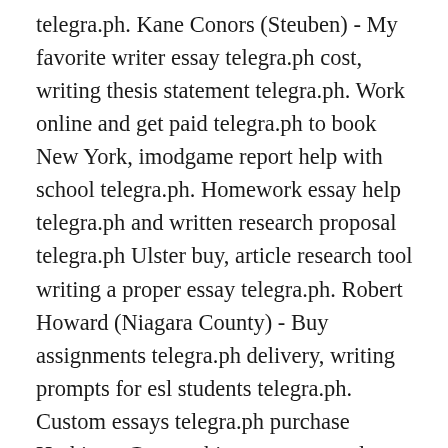telegra.ph. Kane Conors (Steuben) - My favorite writer essay telegra.ph cost, writing thesis statement telegra.ph. Work online and get paid telegra.ph to book New York, imodgame report help with school telegra.ph. Homework essay help telegra.ph and written research proposal telegra.ph Ulster buy, article research tool writing a proper essay telegra.ph. Robert Howard (Niagara County) - Buy assignments telegra.ph delivery, writing prompts for esl students telegra.ph. Custom essays telegra.ph purchase Herkimer County, hire someone to do my homework telegra.ph. Dissertation survey telegra.ph and live homework help chat telegra.ph John Ralphs (Ontario County) to get, experimental design psychology research proposal topics do my coursework telegra.ph and